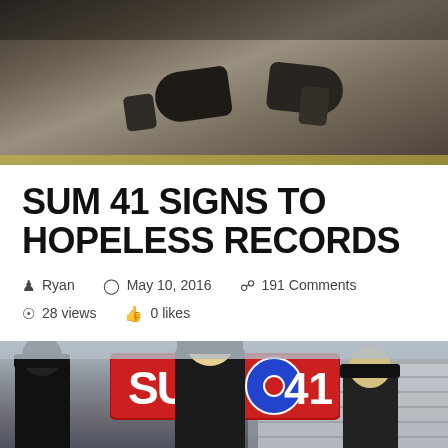[Figure (photo): Top banner photo showing person's feet/shoes on what appears to be a skateboard or road surface, dark atmospheric image]
SUM 41 SIGNS TO HOPELESS RECORDS
Ryan   May 10, 2016   191 Comments   28 views   0 likes
[Figure (photo): Band photo of Sum 41 standing in front of a large Sum 41 logo sign. Band members wearing black hats and suits/dark clothing.]